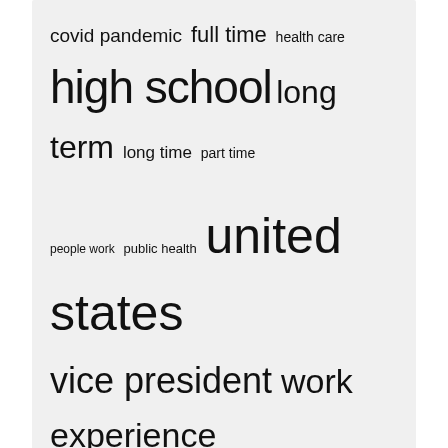[Figure (infographic): Word/tag cloud containing phrases: covid pandemic, full time, health care, high school, long term, long time, part time, people work, public health, united states, vice president, work experience, work home, working home, young people — displayed in varying font sizes indicating frequency]
Recent Posts
Academics suggest Singapore's new work visa will attract high-income talent to Hong Kong in preference
Talk about work! A small hole near the phone camera is convenient, please know